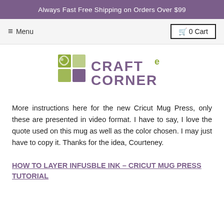Always Fast Free Shipping on Orders Over $99
≡ Menu    🛒 0 Cart
[Figure (logo): Craft e Corner logo with colored squares and stylized text]
More instructions here for the new Cricut Mug Press, only these are presented in video format. I have to say, I love the quote used on this mug as well as the color chosen. I may just have to copy it. Thanks for the idea, Courteney.
HOW TO LAYER INFUSBLE INK - CRICUT MUG PRESS TUTORIAL